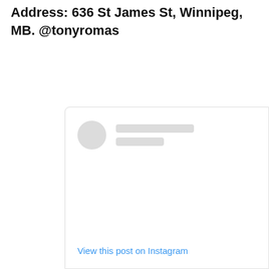Address: 636 St James St, Winnipeg, MB. @tonyromas
[Figure (screenshot): Partial Instagram embed card showing a placeholder avatar (grey circle), two grey placeholder text lines, a blank content area, and a 'View this post on Instagram' link in blue at the bottom.]